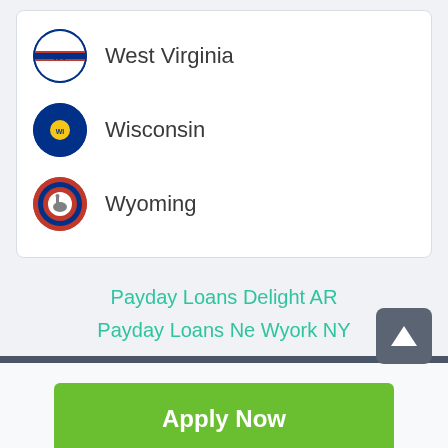West Virginia
Wisconsin
Wyoming
Payday Loans Delight AR
Payday Loans Ne Wyork NY
Apply Now
Applying does NOT affect your credit score! No credit check to apply.